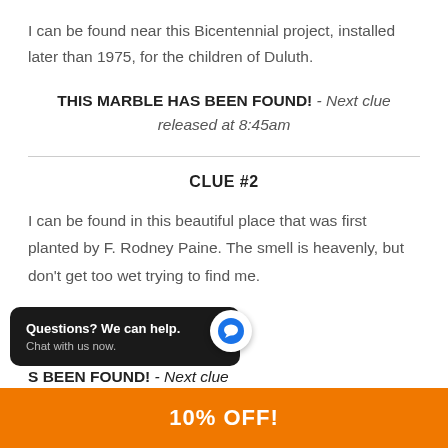I can be found near this Bicentennial project, installed later than 1975, for the children of Duluth.
THIS MARBLE HAS BEEN FOUND! - Next clue released at 8:45am
CLUE #2
I can be found in this beautiful place that was first planted by F. Rodney Paine. The smell is heavenly, but don't get too wet trying to find me.
S BEEN FOUND! - Next clue released at 9:30am
10% OFF!
Questions? We can help.
Chat with us now.